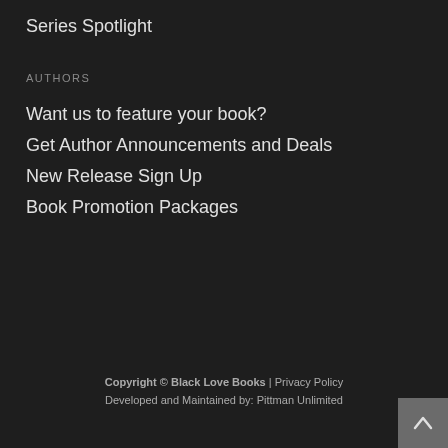Series Spotlight
AUTHORS
Want us to feature your book?
Get Author Announcements and Deals
New Release Sign Up
Book Promotion Packages
Copyright © Black Love Books | Privacy Policy
Developed and Maintained by: Pittman Unlimited